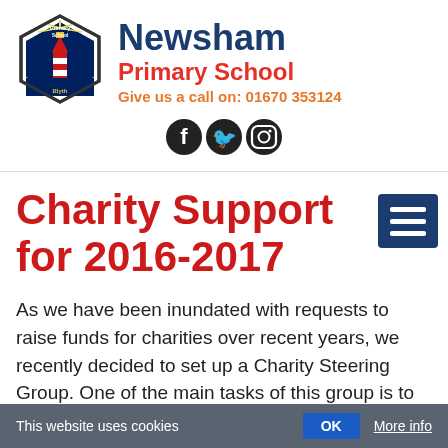[Figure (logo): Newsham Primary School hexagonal logo with lighthouse and text 'Primary School' and 'Blyth']
Newsham Primary School
Give us a call on: 01670 353124
[Figure (illustration): Social media icons: Facebook, Twitter, Instagram]
Charity Support for 2016-2017
As we have been inundated with requests to raise funds for charities over recent years, we recently decided to set up a Charity Steering Group.  One of the main tasks of this group is to confirm the charities that the children democratically vote to
This website uses cookies  OK  More info